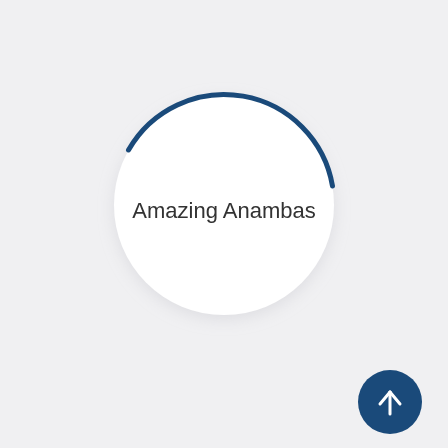[Figure (infographic): A circular UI element with a white circle containing the text 'Amazing Anambas' and a dark blue arc above it, resembling a loading or progress spinner. In the bottom-right corner there is a dark blue circular button with a white upward arrow icon.]